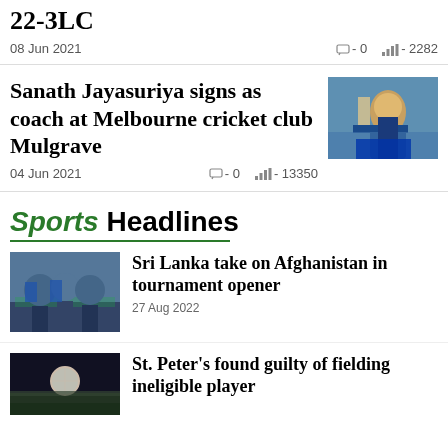22-3LC
08 Jun 2021   □-0   ▌▌▌-2282
Sanath Jayasuriya signs as coach at Melbourne cricket club Mulgrave
[Figure (photo): Cricket player batting, wearing Sri Lanka kit]
04 Jun 2021   □-0   ▌▌▌-13350
Sports Headlines
[Figure (photo): Cricket players on field in blue uniforms]
Sri Lanka take on Afghanistan in tournament opener
27 Aug 2022
[Figure (photo): Night cricket field with ball]
St. Peter's found guilty of fielding ineligible player